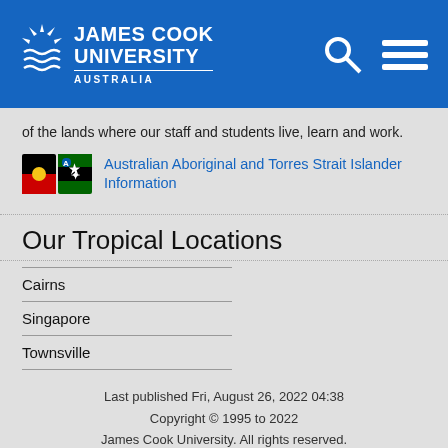[Figure (logo): James Cook University Australia logo with white text on blue header background, plus search and menu icons]
of the lands where our staff and students live, learn and work.
Australian Aboriginal and Torres Strait Islander Information
Our Tropical Locations
Cairns
Singapore
Townsville
Last published Fri, August 26, 2022 04:38
Copyright © 1995 to 2022
James Cook University. All rights reserved.
ABN 46253211955